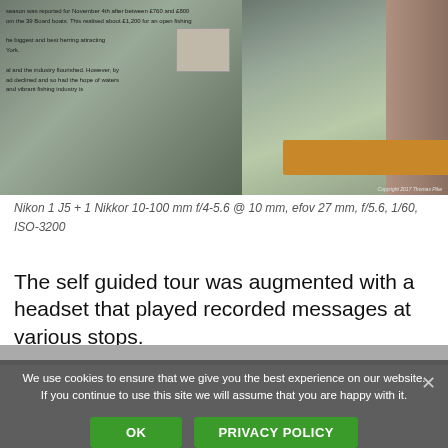[Figure (photo): Interior of a museum or heritage centre showing display panels with historical text and images about herring fishing industry, with a wooden reception desk visible on the right side]
Nikon 1 J5 + 1 Nikkor 10-100 mm f/4-5.6 @ 10 mm, efov 27 mm, f/5.6, 1/60, ISO-3200
The self guided tour was augmented with a headset that played recorded messages at various stops.
We use cookies to ensure that we give you the best experience on our website. If you continue to use this site we will assume that you are happy with it.